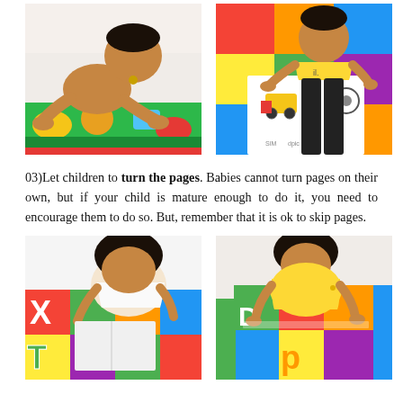[Figure (photo): Baby lying on colorful animal print mat, reaching forward with hands on mat]
[Figure (photo): Toddler in yellow shirt sitting on colorful foam puzzle mat, looking at book with vehicle illustrations]
03)Let children to turn the pages. Babies cannot turn pages on their own, but if your child is mature enough to do it, you need to encourage them to do so. But, remember that it is ok to skip pages.
[Figure (photo): Child with dark hair bending over colorful alphabet foam mat, turning pages]
[Figure (photo): Child in yellow outfit bending over colorful alphabet foam mat]